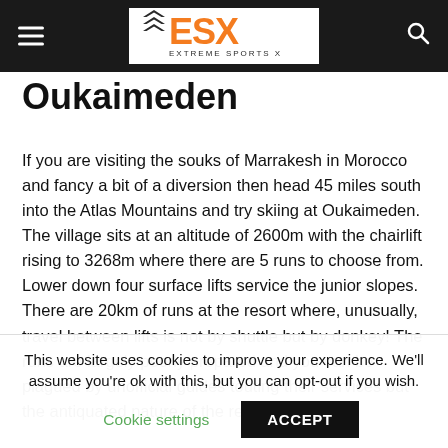Extreme Sports X — ESX
Oukaimeden
If you are visiting the souks of Marrakesh in Morocco and fancy a bit of a diversion then head 45 miles south into the Atlas Mountains and try skiing at Oukaimeden. The village sits at an altitude of 2600m with the chairlift rising to 3268m where there are 5 runs to choose from. Lower down four surface lifts service the junior slopes. There are 20km of runs at the resort where, unusually, travel between lifts is not by shuttle but by donkey! The runs are largely poorly prepared and you can be plagued by unofficial guides touting their services but the antiquated nature of the resort could be
This website uses cookies to improve your experience. We'll assume you're ok with this, but you can opt-out if you wish.
Cookie settings   ACCEPT